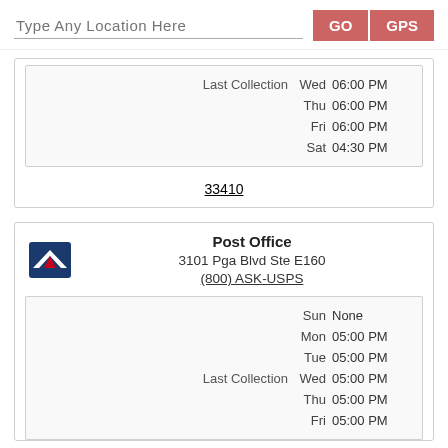Type Any Location Here
| Label | Day | Time |
| --- | --- | --- |
| Last Collection | Wed | 06:00 PM |
|  | Thu | 06:00 PM |
|  | Fri | 06:00 PM |
|  | Sat | 04:30 PM |
33410
Post Office
3101 Pga Blvd Ste E160
(800) ASK-USPS
| Label | Day | Time |
| --- | --- | --- |
|  | Sun | None |
|  | Mon | 05:00 PM |
|  | Tue | 05:00 PM |
| Last Collection | Wed | 05:00 PM |
|  | Thu | 05:00 PM |
|  | Fri | 05:00 PM |